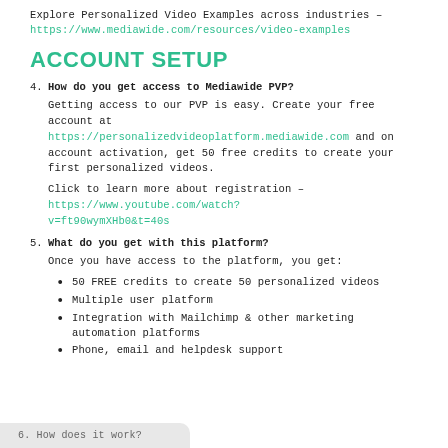Explore Personalized Video Examples across industries – https://www.mediawide.com/resources/video-examples
ACCOUNT SETUP
4. How do you get access to Mediawide PVP?
Getting access to our PVP is easy. Create your free account at https://personalizedvideoplatform.mediawide.com and on account activation, get 50 free credits to create your first personalized videos.
Click to learn more about registration – https://www.youtube.com/watch?v=ft90wymXHb0&t=40s
5. What do you get with this platform?
Once you have access to the platform, you get:
50 FREE credits to create 50 personalized videos
Multiple user platform
Integration with Mailchimp & other marketing automation platforms
Phone, email and helpdesk support
6. How does it work?